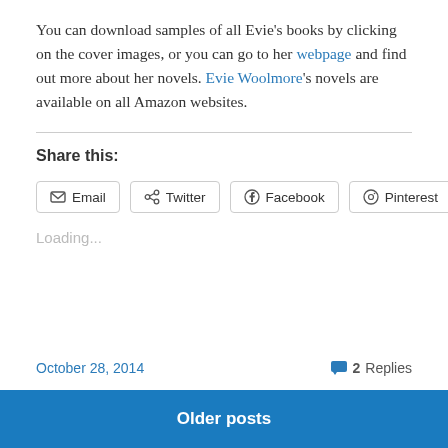You can download samples of all Evie's books by clicking on the cover images, or you can go to her webpage and find out more about her novels. Evie Woolmore's novels are available on all Amazon websites.
Share this:
Email  Twitter  Facebook  Pinterest
Loading...
October 28, 2014  2 Replies
Older posts